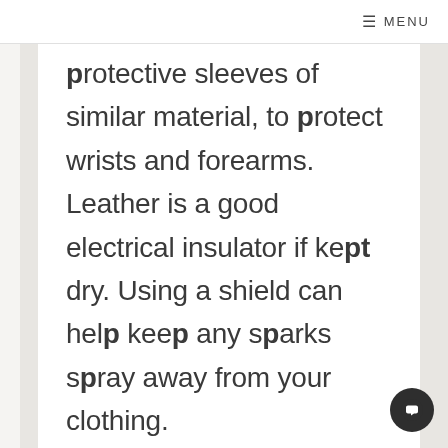≡ MENU
protective sleeves of similar material, to protect wrists and forearms. Leather is a good electrical insulator if kept dry. Using a shield can help keep any sparks spray away from your clothing.